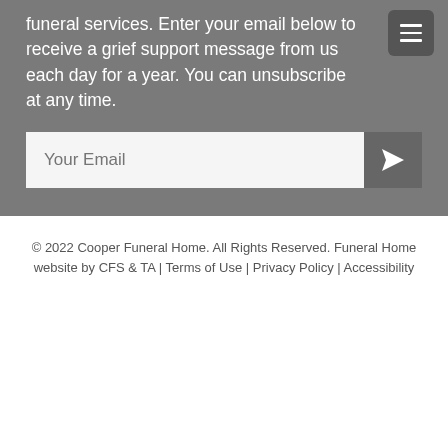funeral services.  Enter your email below to receive a grief support message from us each day for a year.  You can unsubscribe at any time.
© 2022 Cooper Funeral Home. All Rights Reserved. Funeral Home website by CFS & TA | Terms of Use | Privacy Policy | Accessibility